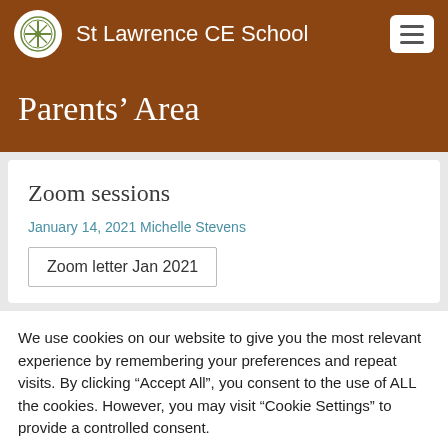St Lawrence CE School
Parents' Area
Zoom sessions
January 14, 2021 Michelle Stevens
Zoom letter Jan 2021
We use cookies on our website to give you the most relevant experience by remembering your preferences and repeat visits. By clicking "Accept All", you consent to the use of ALL the cookies. However, you may visit "Cookie Settings" to provide a controlled consent.
Cookie Settings | Accept All